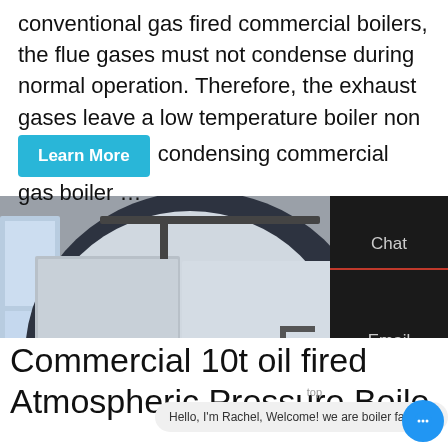conventional gas fired commercial boilers, the flue gases must not condense during normal operation. Therefore, the exhaust gases leave a low temperature boiler non condensing commercial gas boiler …
[Figure (photo): Industrial gas-fired commercial boiler in a factory/workshop setting. Large cylindrical boiler with Chinese text branding, red burner at front, piping and gauges visible in background.]
Chat
Email
Contact
Contact us now!
Hello, I'm Rachel, Welcome! we are boiler factory!
Commercial 10t oil fired Atmospheric Pressure Boile